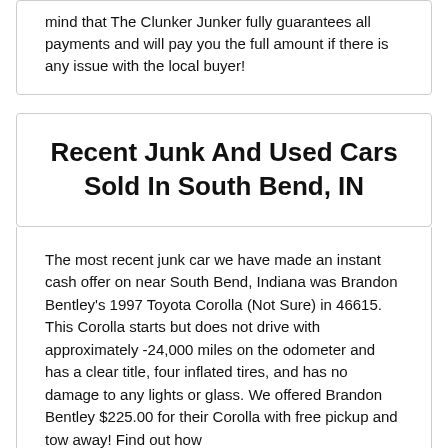mind that The Clunker Junker fully guarantees all payments and will pay you the full amount if there is any issue with the local buyer!
Recent Junk And Used Cars Sold In South Bend, IN
The most recent junk car we have made an instant cash offer on near South Bend, Indiana was Brandon Bentley's 1997 Toyota Corolla (Not Sure) in 46615. This Corolla starts but does not drive with approximately -24,000 miles on the odometer and has a clear title, four inflated tires, and has no damage to any lights or glass. We offered Brandon Bentley $225.00 for their Corolla with free pickup and tow away! Find out how